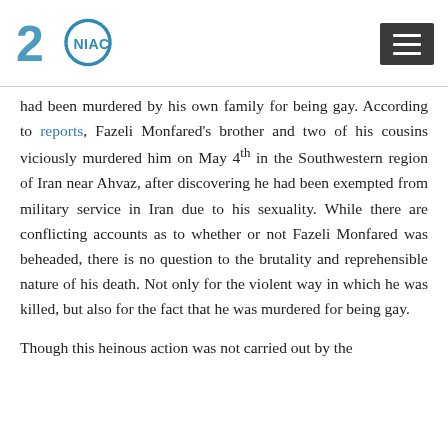NIAC (logo with 20th anniversary mark) and hamburger menu button
had been murdered by his own family for being gay. According to reports, Fazeli Monfared's brother and two of his cousins viciously murdered him on May 4th in the Southwestern region of Iran near Ahvaz, after discovering he had been exempted from military service in Iran due to his sexuality. While there are conflicting accounts as to whether or not Fazeli Monfared was beheaded, there is no question to the brutality and reprehensible nature of his death. Not only for the violent way in which he was killed, but also for the fact that he was murdered for being gay.
Though this heinous action was not carried out by the